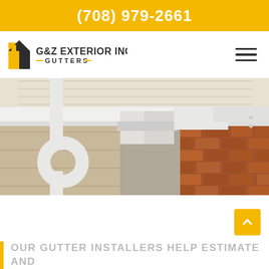(708) 979-2661
[Figure (logo): G&Z Exterior Inc. Gutters logo with house icon in yellow and dark gray]
[Figure (photo): Close-up photo of white gutters and downspout on a house with red brick and tan siding]
OUR GUTTER INSTALLERS HELP ESTIMATE AND ADVISE!